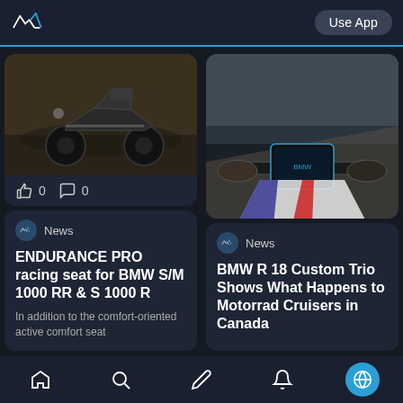Use App
[Figure (photo): Motorcycle parked on dirt ground, dark cruiser style, side/front angle view]
0  0
[Figure (photo): First-person POV riding a BMW motorcycle, handlebar and instrument cluster visible, mountain road]
0  0
News
ENDURANCE PRO racing seat for BMW S/M 1000 RR & S 1000 R
In addition to the comfort-oriented active comfort seat
News
BMW R 18 Custom Trio Shows What Happens to Motorrad Cruisers in Canada